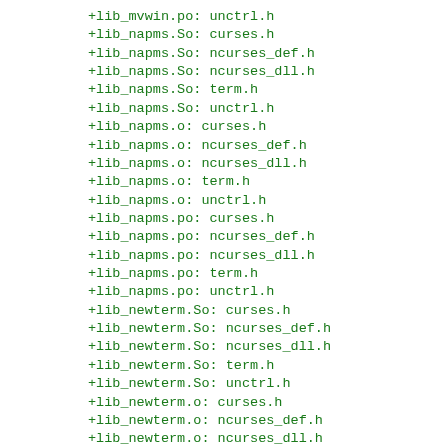+lib_mvwin.po: unctrl.h
+lib_napms.So: curses.h
+lib_napms.So: ncurses_def.h
+lib_napms.So: ncurses_dll.h
+lib_napms.So: term.h
+lib_napms.So: unctrl.h
+lib_napms.o: curses.h
+lib_napms.o: ncurses_def.h
+lib_napms.o: ncurses_dll.h
+lib_napms.o: term.h
+lib_napms.o: unctrl.h
+lib_napms.po: curses.h
+lib_napms.po: ncurses_def.h
+lib_napms.po: ncurses_dll.h
+lib_napms.po: term.h
+lib_napms.po: unctrl.h
+lib_newterm.So: curses.h
+lib_newterm.So: ncurses_def.h
+lib_newterm.So: ncurses_dll.h
+lib_newterm.So: term.h
+lib_newterm.So: unctrl.h
+lib_newterm.o: curses.h
+lib_newterm.o: ncurses_def.h
+lib_newterm.o: ncurses_dll.h
+lib_newterm.o: term.h
+lib_newterm.o: unctrl.h
+lib_newterm.po: curses.h
+lib_newterm.po: ncurses_def.h
+lib_newterm.po: ncurses_dll.h
+lib_newterm.po: term.h